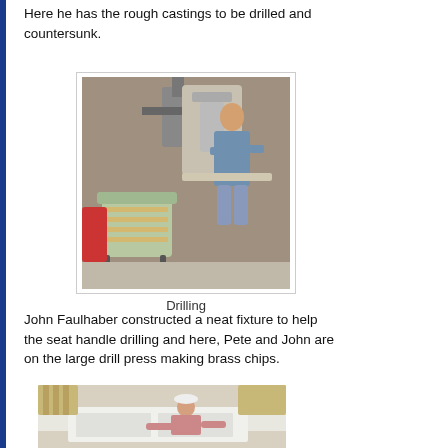Here he has the rough castings to be drilled and countersunk.
[Figure (photo): A person in a workshop standing at a large drill press machine, with a chair containing wooden slats on the floor in the foreground. Industrial workshop setting with equipment visible in the background.]
Drilling
John Faulhaber constructed a neat fixture to help the seat handle drilling and here, Pete and John are on the large drill press making brass chips.
[Figure (photo): A person in a pink shirt and white cap leaning over a large white door or panel on a work table, with striped cushioned furniture visible in the background.]